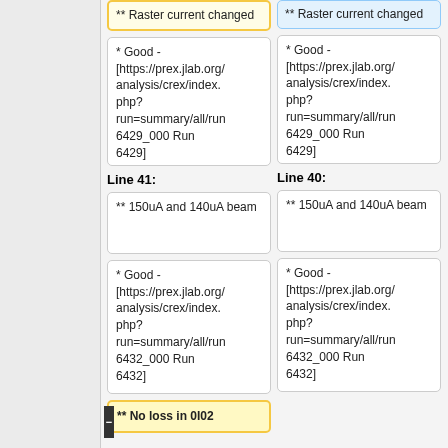** Raster current changed
** Raster current changed
* Good - [https://prex.jlab.org/analysis/crex/index.php?run=summary/all/run6429_000 Run 6429]
* Good - [https://prex.jlab.org/analysis/crex/index.php?run=summary/all/run6429_000 Run 6429]
Line 41:
Line 40:
** 150uA and 140uA beam
** 150uA and 140uA beam
* Good - [https://prex.jlab.org/analysis/crex/index.php?run=summary/all/run6432_000 Run 6432]
* Good - [https://prex.jlab.org/analysis/crex/index.php?run=summary/all/run6432_000 Run 6432]
** No loss in 0I02